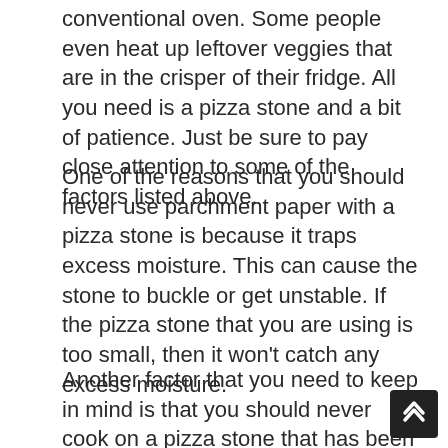conventional oven. Some people even heat up leftover veggies that are in the crisper of their fridge. All you need is a pizza stone and a bit of patience. Just be sure to pay close attention to some of the factors listed above.
One of the reasons that you should never use parchment paper with a pizza stone is because it traps excess moisture. This can cause the stone to buckle or get unstable. If the pizza stone that you are using is too small, then it won't catch any excess moisture.
Another factor that you need to keep in mind is that you should never cook on a pizza stone that has been unplugged. Since these stones are so small, they can easily get tipped over or pushed around. Make sure that the one that you are going to buy is sturdy. There are a lot of different models out there,